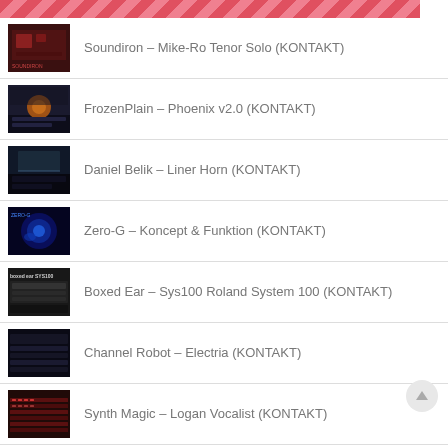[Figure (other): Red diagonal striped header bar]
Soundiron – Mike-Ro Tenor Solo (KONTAKT)
FrozenPlain – Phoenix v2.0 (KONTAKT)
Daniel Belik – Liner Horn (KONTAKT)
Zero-G – Koncept & Funktion (KONTAKT)
Boxed Ear – Sys100 Roland System 100 (KONTAKT)
Channel Robot – Electria (KONTAKT)
Synth Magic – Logan Vocalist (KONTAKT)